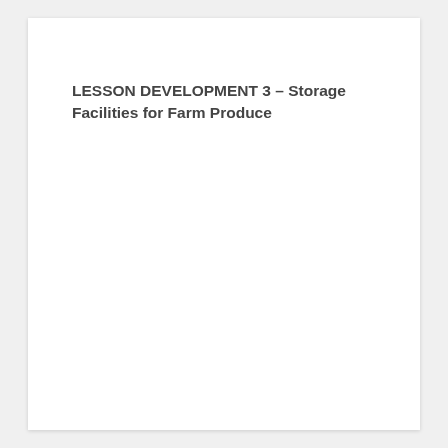LESSON DEVELOPMENT 3 – Storage Facilities for Farm Produce